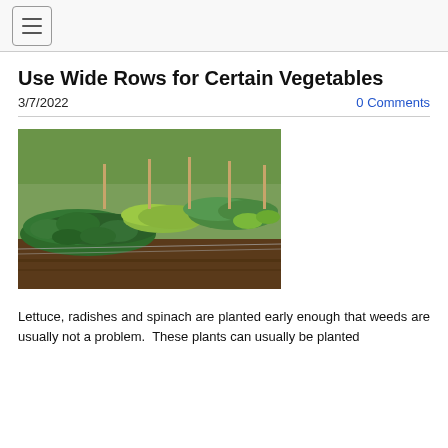Use Wide Rows for Certain Vegetables
3/7/2022
0 Comments
[Figure (photo): Garden with wide rows of leafy vegetables including spinach and lettuce, with wooden stakes visible in the background]
Lettuce, radishes and spinach are planted early enough that weeds are usually not a problem. These plants can usually be planted